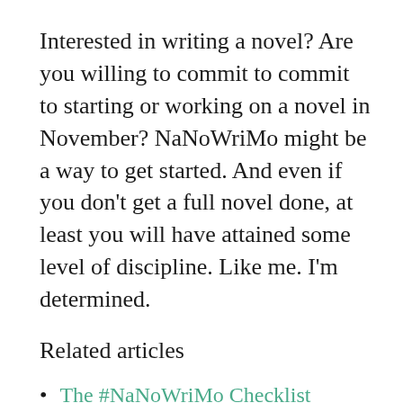Interested in writing a novel? Are you willing to commit to commit to starting or working on a novel in November? NaNoWriMo might be a way to get started. And even if you don't get a full novel done, at least you will have attained some level of discipline. Like me. I'm determined.
Related articles
The #NaNoWriMo Checklist (writingishardwork.com)
Countdown to National Novel